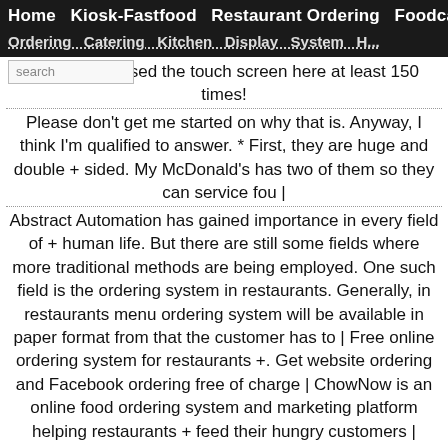Home  Kiosk-Fastfood  Restaurant Ordering  Foodcart
[second nav bar - partially visible]
picture. I've used the touch screen here at least 150 times!
Please don't get me started on why that is. Anyway, I think I'm qualified to answer. * First, they are huge and double + sided. My McDonald's has two of them so they can service fou |
Abstract Automation has gained importance in every field of + human life. But there are still some fields where more traditional methods are being employed. One such field is the ordering system in restaurants. Generally, in restaurants menu ordering system will be available in paper format from that the customer has to |
Free online ordering system for restaurants +. Get website ordering and Facebook ordering free of charge |
ChowNow is an online food ordering system and marketing platform helping restaurants + feed their hungry customers |
Simply + Ordering System is a website or mobile application through which users can order food online from a food cooperative or even a native restaurant